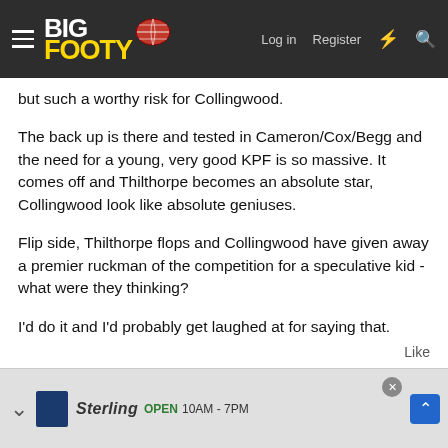BigFooty navigation bar with logo, Log in, Register links and icons
but such a worthy risk for Collingwood.
The back up is there and tested in Cameron/Cox/Begg and the need for a young, very good KPF is so massive. It comes off and Thilthorpe becomes an absolute star, Collingwood look like absolute geniuses.
Flip side, Thilthorpe flops and Collingwood have given away a premier ruckman of the competition for a speculative kid - what were they thinking?
I’d do it and I’d probably get laughed at for saying that.
Like
[Figure (screenshot): Advertisement banner showing Sterling store with OPEN hours 10AM-7PM]